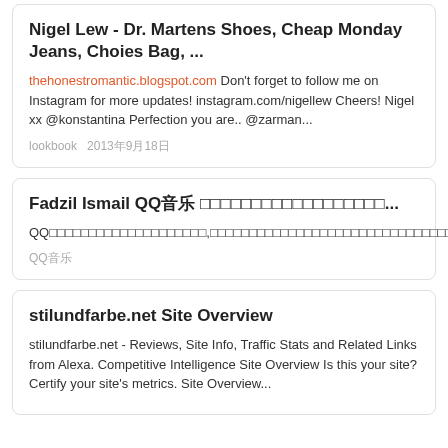Nigel Lew - Dr. Martens Shoes, Cheap Monday Jeans, Choies Bag, ...
thehonestromantic.blogspot.com Don't forget to follow me on Instagram for more updates! instagram.com/nigellew Cheers! Nigel xx @konstantina Perfection you are.. @zarman...
lookbook  2013年9月18日
Fadzil Ismail QQ音乐 □□□□□□□□□□□□□□□□□□...
QQ□□□□□□□□□□□□□□□□□□□□,□□□□□□□□□□□□□□□□□□□□□□□□□□□□□□□□□□□□□□□□□□□□□□□□□□□...
QQ音乐
stilundfarbe.net Site Overview
stilundfarbe.net - Reviews, Site Info, Traffic Stats and Related Links from Alexa. Competitive Intelligence Site Overview Is this your site? Certify your site's metrics. Site Overview...